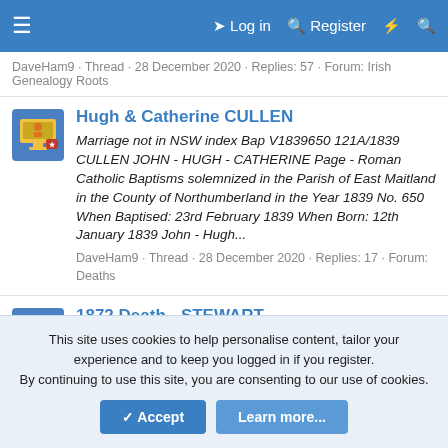≡  Log in  Register  ⚡  🔍
DaveHam9 · Thread · 28 December 2020 · Replies: 57 · Forum: Irish Genealogy Roots
Hugh & Catherine CULLEN
Marriage not in NSW index Bap V1839650 121A/1839 CULLEN JOHN - HUGH - CATHERINE Page - Roman Catholic Baptisms solemnized in the Parish of East Maitland in the County of Northumberland in the Year 1839 No. 650 When Baptised: 23rd February 1839 When Born: 12th January 1839 John - Hugh...
DaveHam9 · Thread · 28 December 2020 · Replies: 17 · Forum: Deaths
1872 Death - STEWART
Page 93 1872 DEATHS in the Burgh of Dunfermline in the County of Fife No. 278 - Elizabeth Stewart Married to David Stewart Slater
This site uses cookies to help personalise content, tailor your experience and to keep you logged in if you register.
By continuing to use this site, you are consenting to our use of cookies.